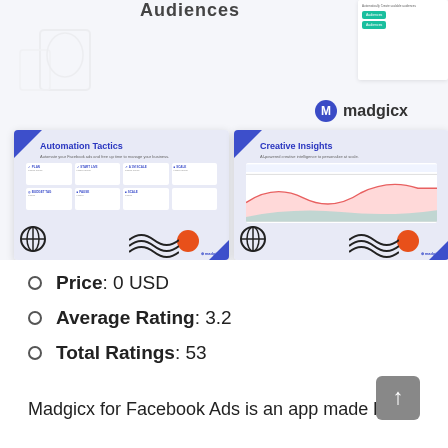[Figure (screenshot): Partial page header showing 'Audiences' text and a UI panel top-right with teal buttons, plus ghost outline shapes at top-left]
[Figure (screenshot): Madgicx logo (M circle icon + 'madgicx' text)]
[Figure (screenshot): Screenshot of Madgicx 'Automation Tactics' product page — blue/lavender background, title, feature grid, decorative globe, orange circle, wavy lines]
[Figure (screenshot): Screenshot of Madgicx 'Creative Insights' product page — blue/lavender background, title, dashboard chart preview, decorative globe, orange circle, wavy lines]
Price: 0 USD
Average Rating: 3.2
Total Ratings: 53
Madgicx for Facebook Ads is an app made by Madgicx...